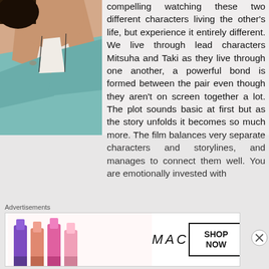[Figure (illustration): Anime-style illustration of a character with brown and teal clothing, partial view]
compelling watching these two different characters living the other's life, but experience it entirely different. We live through lead characters Mitsuha and Taki as they live through one another, a powerful bond is formed between the pair even though they aren't on screen together a lot. The plot sounds basic at first but as the story unfolds it becomes so much more. The film balances very separate characters and storylines, and manages to connect them well. You are emotionally invested with
Advertisements
[Figure (photo): MAC cosmetics advertisement banner showing colorful lipsticks with MAC logo and SHOP NOW button]